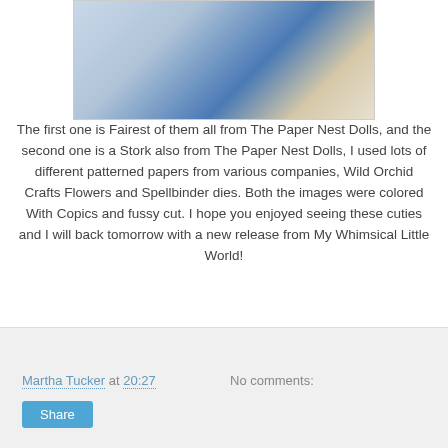[Figure (photo): A crafted card or scrapbook page featuring decorative elements including flowers, patterned papers, and a baby-themed image with blue accents]
The first one is Fairest of them all from The Paper Nest Dolls, and the second one is a Stork also from The Paper Nest Dolls, I used lots of different patterned papers from various companies, Wild Orchid Crafts Flowers and Spellbinder dies. Both the images were colored With Copics and fussy cut. I hope you enjoyed seeing these cuties and I will back tomorrow with a new release from My Whimsical Little World!
Hugs
Martha
Martha Tucker at 20:27   No comments:
Share